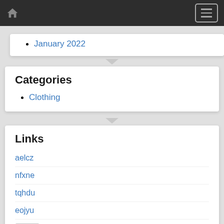Home navigation header with hamburger menu
January 2022
Categories
Clothing
Links
aelcz
nfxne
tqhdu
eojyu
vbort